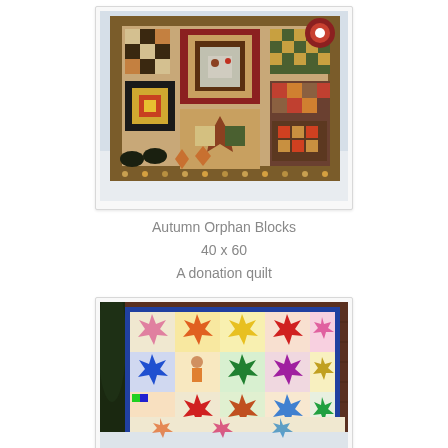[Figure (photo): A colorful autumn patchwork quilt with various blocks including stars, log cabin, nine-patch patterns in autumn colors (orange, burgundy, green, gold) photographed outdoors in winter/snowy setting]
Autumn Orphan Blocks
40 x 60
A donation quilt
[Figure (photo): A brightly colored patchwork quilt with many star blocks in vivid rainbow colors (pink, yellow, red, green, orange, blue) photographed hanging outdoors in winter with snow on the ground]